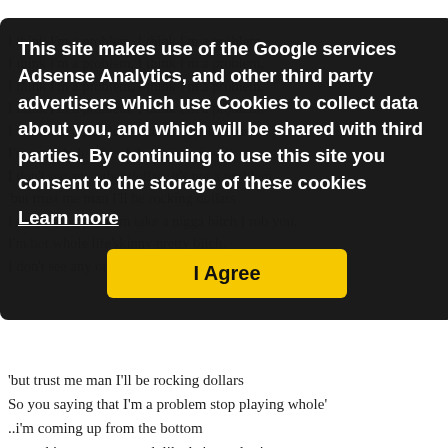I'm not whole life skinny pretty bitch
I think I'm a problem, I think I'm a problem, I think I'm a problem, I think I'm a problem, I think I'm a problem, I think I'm a problem, I think I'm a problem, I think I'm a problem, take a nigga bitch I rob you, I'm not whole life..., I don't see any other dollars it's not a problem 'but trust me man I'll be rocking dollars I think I'm a problem take a nigga bitch I rob you, I'm hot whole life'skinny pretty bitch I don't see any other dollars it's not a problem
This site makes use of the Google services Adsense Analytics, and other third party advertisers which use Cookies to collect data about you, and which will be shared with third parties. By continuing to use this site you consent to the storage of these cookies
Learn more
I Agree
'but trust me man I'll be rocking dollars
So you saying that I'm a problem stop playing whole'
..i'm coming up from the bottom
...get this money get and..like he's a color '
...no nigga living like'
...hate the bitches get out of line'
...this bitches getting from promo'